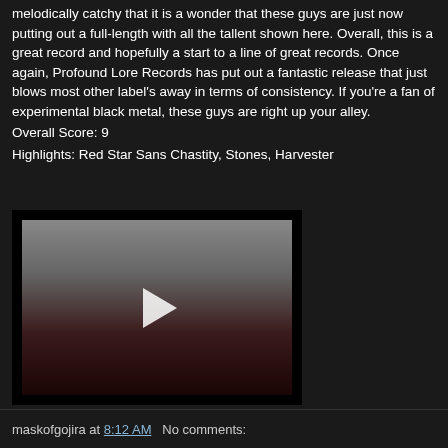melodically catchy that it is a wonder that these guys are just now putting out a full-length with all the tallent shown here. Overall, this is a great record and hopefully a start to a line of great records. Once again, Profound Lore Records has put out a fantastic release that just blows most other label's away in terms of consistency. If you're a fan of experimental black metal, these guys are right up your alley.
Overall Score: 9
Highlights: Red Star Sans Chastity, Stones, Harvester
[Figure (screenshot): Embedded video player with black border, showing a dark atmospheric scene with grey sky and reddish dark landmass, with a white play button triangle in the center.]
maskofgojira at 8:12 AM   No comments: